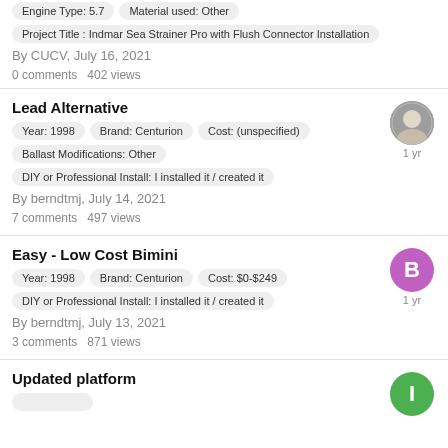Engine Type: 5.7 | Material used: Other | Project Title: Indmar Sea Strainer Pro with Flush Connector Installation | By CUCV, July 16, 2021 | 0 comments  402 views
Lead Alternative | Year: 1998 | Brand: Centurion | Cost: (unspecified) | Ballast Modifications: Other | DIY or Professional Install: I installed it / created it | By berndtmj, July 14, 2021 | 7 comments  497 views
Easy - Low Cost Bimini | Year: 1998 | Brand: Centurion | Cost: $0-$249 | DIY or Professional Install: I installed it / created it | By berndtmj, July 13, 2021 | 3 comments  871 views
Updated platform